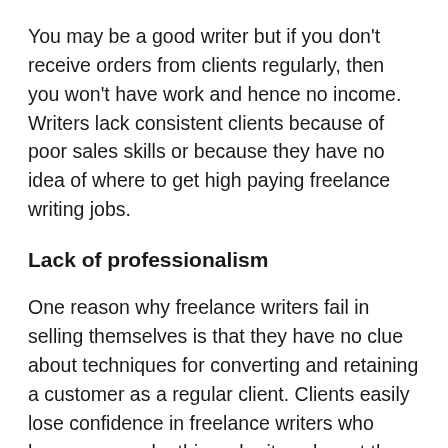You may be a good writer but if you don't receive orders from clients regularly, then you won't have work and hence no income. Writers lack consistent clients because of poor sales skills or because they have no idea of where to get high paying freelance writing jobs.
Lack of professionalism
One reason why freelance writers fail in selling themselves is that they have no clue about techniques for converting and retaining a customer as a regular client. Clients easily lose confidence in freelance writers who have poor work ethic, submit work past the